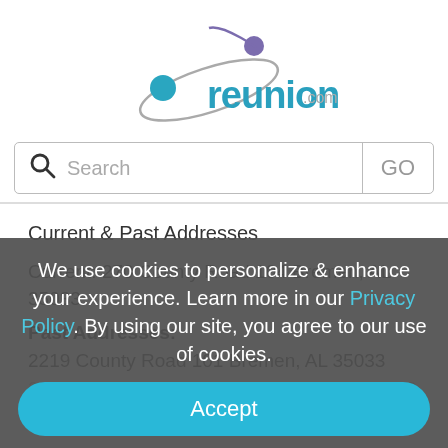[Figure (logo): reunion.com logo with teal text and purple/teal orbit graphic]
[Figure (screenshot): Search bar with magnifying glass icon, placeholder text 'Search', and 'GO' button on the right]
Current & Past Addresses
Current: 270 County Road 104 Bremen, AL 35033
Past Addresses:
2219 County Road 101 Bremen, AL 35033
2219 County Road 101 # 101 Bremen, AL 35033
We use cookies to personalize & enhance your experience. Learn more in our Privacy Policy. By using our site, you agree to our use of cookies.
Accept